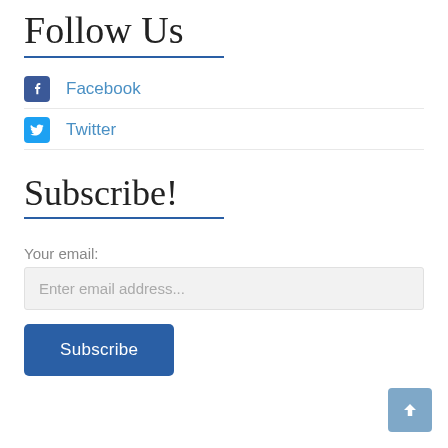Follow Us
Facebook
Twitter
Subscribe!
Your email:
Enter email address...
Subscribe